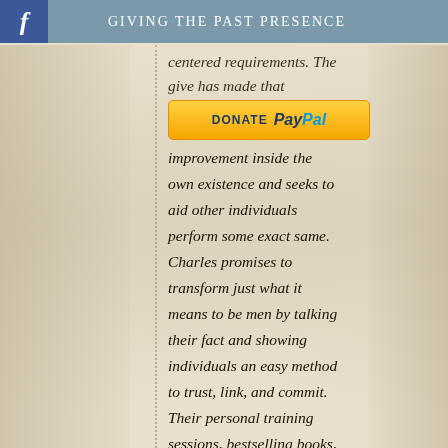GIVING THE PAST PRESENCE
[Figure (logo): PayPal Donate button - yellow/gold rounded rectangle with 'DONATE PayPal' text]
centered requirements. The give has made that improvement inside the own existence and seeks to aid other individuals perform some exact same. Charles promises to transform just what it means to be men by talking their fact and showing individuals an easy method to trust, link, and commit. Their personal training sessions, bestselling books, and impactful social media marketing posts recommend singles and partners on important